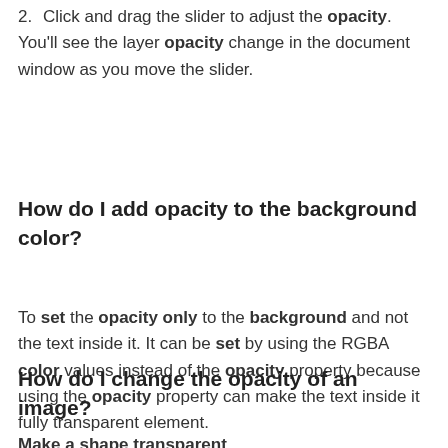2. Click and drag the slider to adjust the opacity. You'll see the layer opacity change in the document window as you move the slider.
How do I add opacity to the background color?
To set the opacity only to the background and not the text inside it. It can be set by using the RGBA color values instead of the opacity property because using the opacity property can make the text inside it fully transparent element.
How do I change the opacity of an image?
Make a shape transparent